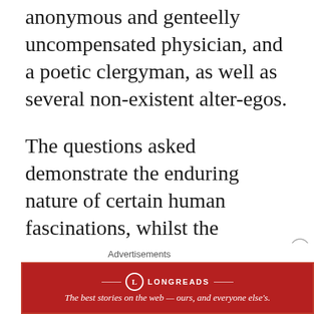anonymous and genteelly uncompensated physician, and a poetic clergyman, as well as several non-existent alter-egos.
The questions asked demonstrate the enduring nature of certain human fascinations, whilst the answers given read like little populist summaries of the zeitgeist of later Stuart London.
Advertisements
[Figure (other): Longreads advertisement banner: red background with Longreads logo and tagline 'The best stories on the web — ours, and everyone else's.']